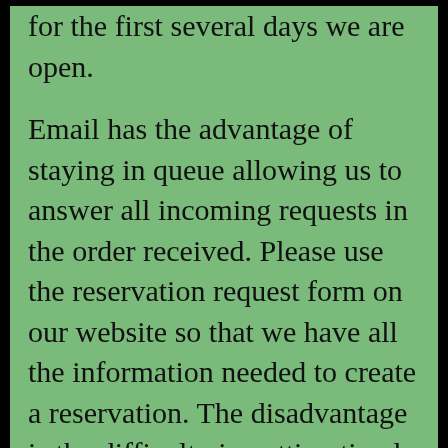for the first several days we are open.
Email has the advantage of staying in queue allowing us to answer all incoming requests in the order received. Please use the reservation request form on our website so that we have all the information needed to create a reservation. The disadvantage is the difficulty in getting timely responses to questions. If your request is incomplete or cannot be filled, your